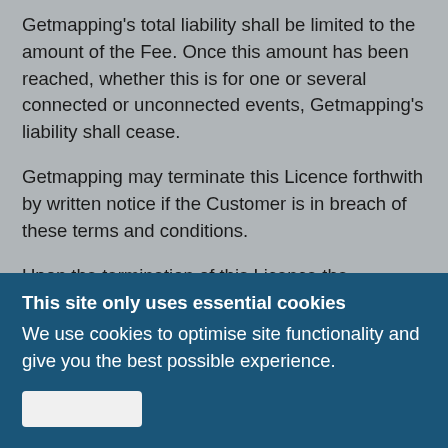Getmapping's total liability shall be limited to the amount of the Fee. Once this amount has been reached, whether this is for one or several connected or unconnected events, Getmapping's liability shall cease.
Getmapping may terminate this Licence forthwith by written notice if the Customer is in breach of these terms and conditions.
Upon the termination of this Licence the Customer shall immediately cease to use the Image and shall [continues below fold]
This site only uses essential cookies
We use cookies to optimise site functionality and give you the best possible experience.